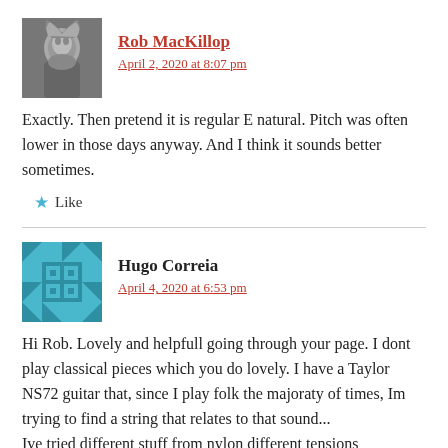Rob MacKillop
April 2, 2020 at 8:07 pm
Exactly. Then pretend it is regular E natural. Pitch was often lower in those days anyway. And I think it sounds better sometimes.
Like
Hugo Correia
April 4, 2020 at 6:53 pm
Hi Rob. Lovely and helpfull going through your page. I dont play classical pieces which you do lovely. I have a Taylor NS72 guitar that, since I play folk the majoraty of times, Im trying to find a string that relates to that sound... Ive tried different stuff from nylon different tensions